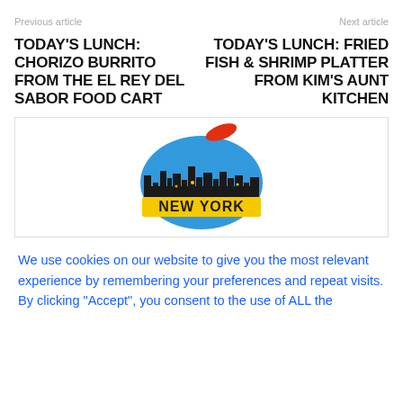Previous article
Next article
TODAY'S LUNCH: CHORIZO BURRITO FROM THE EL REY DEL SABOR FOOD CART
TODAY'S LUNCH: FRIED FISH & SHRIMP PLATTER FROM KIM'S AUNT KITCHEN
[Figure (logo): New York magazine/website logo: a blue apple shape with city skyline silhouette and 'NEW YORK' text in yellow on a dark banner, with a red stem/leaf on top]
We use cookies on our website to give you the most relevant experience by remembering your preferences and repeat visits. By clicking "Accept", you consent to the use of ALL the